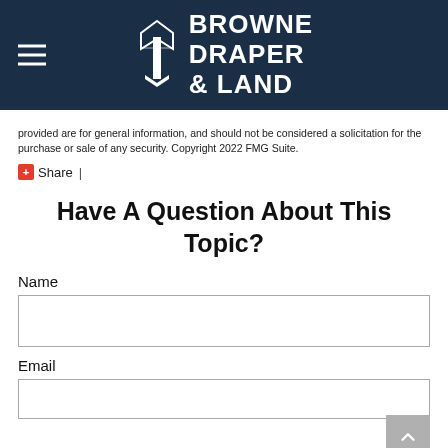BROWNE DRAPER & LAND
provided are for general information, and should not be considered a solicitation for the purchase or sale of any security. Copyright 2022 FMG Suite.
Share |
Have A Question About This Topic?
Name
Email